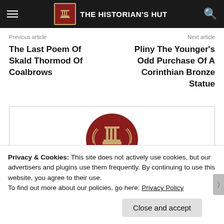THE HISTORIAN'S HUT
Previous article
The Last Poem Of Skald Thormod Of Coalbrows
Next article
Pliny The Younger's Odd Purchase Of A Corinthian Bronze Statue
[Figure (logo): The Historian's Hut circular logo with a Corinthian column and laurel wreath on a dark red background]
Privacy & Cookies: This site does not actively use cookies, but our advertisers and plugins use them frequently. By continuing to use this website, you agree to their use.
To find out more about our policies, go here: Privacy Policy
Close and accept